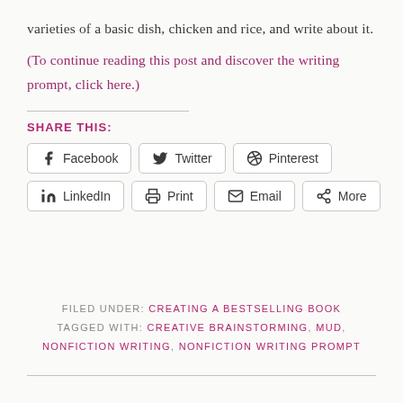varieties of a basic dish, chicken and rice, and write about it.
(To continue reading this post and discover the writing prompt, click here.)
SHARE THIS:
Facebook  Twitter  Pinterest  LinkedIn  Print  Email  More
FILED UNDER: CREATING A BESTSELLING BOOK
TAGGED WITH: CREATIVE BRAINSTORMING, MUD, NONFICTION WRITING, NONFICTION WRITING PROMPT